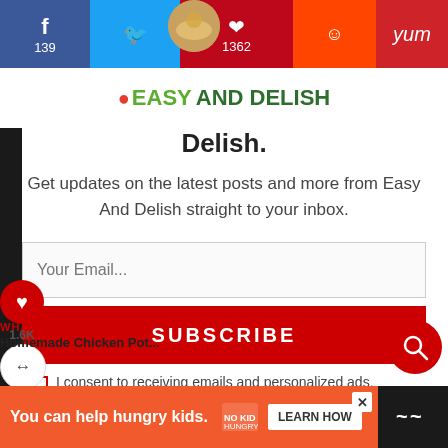[Figure (screenshot): Social sharing bar with Facebook (139), Twitter, Pinterest (1362), Reddit, and Yummly icons at the top of the page]
[Figure (logo): Easy And Delish logo with green text and tomato icon]
Delish.
Get updates on the latest posts and more from Easy And Delish straight to your inbox.
Your Email...
SUBSCRIBE
I consent to receiving emails and personalized ads.
1.6K
WHAT'S NEXT → Homemade Chicken Pot...
[Figure (photo): Circular thumbnail of Homemade Chicken Pot Pie]
You can help hungry kids.
LEARN HOW